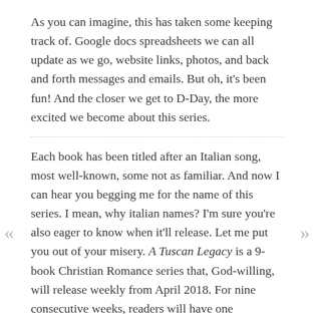As you can imagine, this has taken some keeping track of. Google docs spreadsheets we can all update as we go, website links, photos, and back and forth messages and emails. But oh, it's been fun! And the closer we get to D-Day, the more excited we become about this series.
Each book has been titled after an Italian song, most well-known, some not as familiar. And now I can hear you begging me for the name of this series. I mean, why italian names? I'm sure you're also eager to know when it'll release. Let me put you out of your misery. A Tuscan Legacy is a 9-book Christian Romance series that, God-willing, will release weekly from April 2018. For nine consecutive weeks, readers will have one